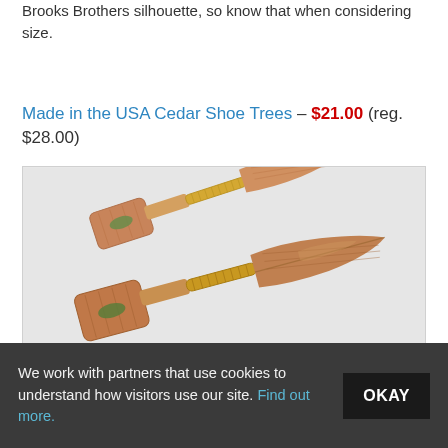Brooks Brothers silhouette, so know that when considering size.
Made in the USA Cedar Shoe Trees – $21.00 (reg. $28.00)
[Figure (photo): Two cedar shoe trees with gold metal spring connectors, shown on a light gray background. The shoe trees are made of natural reddish-brown cedar wood with visible wood grain.]
We work with partners that use cookies to understand how visitors use our site. Find out more.